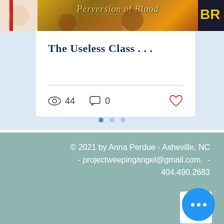[Figure (screenshot): Book cover carousel showing partial covers: left partial red/white cover, center 'Perversion of Blood' with golden background, right partial gold/dark cover]
The Useless Class . . .
44 views · 0 comments · like
[Figure (other): Pagination dots: one active blue dot and two inactive grey dots]
© 2021 by Anna Perdue - Asheville, NC - projectweepingangel@gmail.com  - 404.490.2683